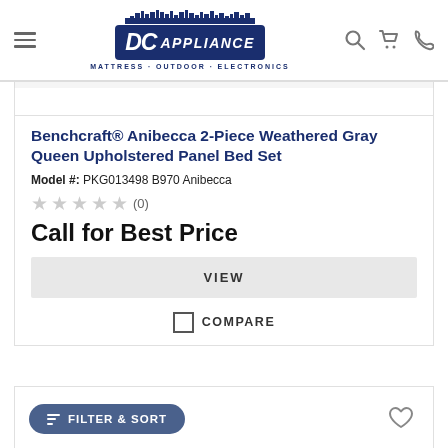[Figure (logo): DC Appliance logo with skyline silhouette above, tagline MATTRESS · OUTDOOR · ELECTRONICS below]
Benchcraft® Anibecca 2-Piece Weathered Gray Queen Upholstered Panel Bed Set
Model #: PKG013498 B970 Anibecca
★★★★★ (0)
Call for Best Price
VIEW
COMPARE
FILTER & SORT